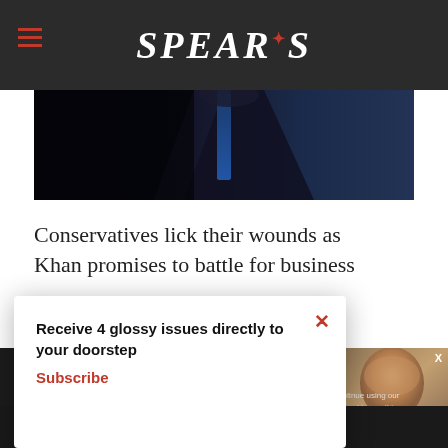SPEAR'S
[Figure (photo): Dark background hero image showing a man in a dark suit with a blue tie, mostly in shadow]
Conservatives lick their wounds as Khan promises to battle for business
[Figure (photo): Bald man in dark suit, bottom right corner, partial view]
Receive 4 glossy issues directly to your doorstep
Subscribe
continue using our all cookies on this
Continue   Learn more
© 2022 Spear's Magazine